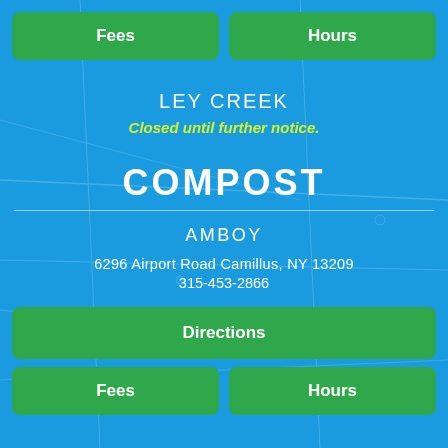Fees
Hours
LEY CREEK
Closed until further notice.
COMPOST
AMBOY
6296 Airport Road Camillus, NY 13209
315-453-2866
Directions
Fees
Hours